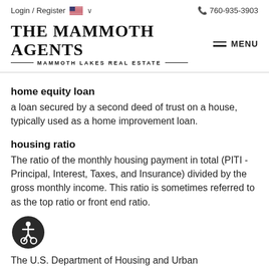Login / Register  🇺🇸 ∨  📞 760-935-3903
[Figure (logo): The Mammoth Agents — Mammoth Lakes Real Estate logo with hamburger menu icon and MENU text]
home equity loan
a loan secured by a second deed of trust on a house, typically used as a home improvement loan.
housing ratio
The ratio of the monthly housing payment in total (PITI - Principal, Interest, Taxes, and Insurance) divided by the gross monthly income. This ratio is sometimes referred to as the top ratio or front end ratio.
[Figure (illustration): Accessibility icon — person in wheelchair inside a circle]
The U.S. Department of Housing and Urban